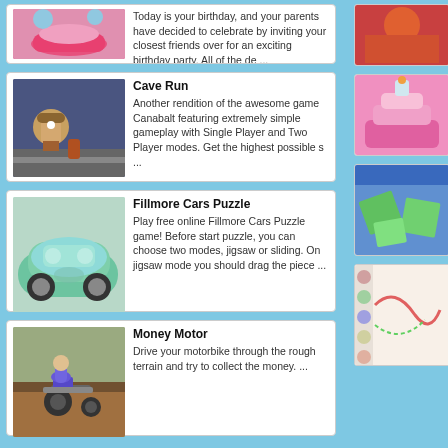Today is your birthday, and your parents have decided to celebrate by inviting your closest friends over for an exciting birthday party. All of the de ...
Cave Run
Another rendition of the awesome game Canabalt featuring extremely simple gameplay with Single Player and Two Player modes. Get the highest possible s ...
Fillmore Cars Puzzle
Play free online Fillmore Cars Puzzle game! Before start puzzle, you can choose two modes, jigsaw or sliding. On jigsaw mode you should drag the piece ...
Money Motor
Drive your motorbike through the rough terrain and try to collect the money. ...